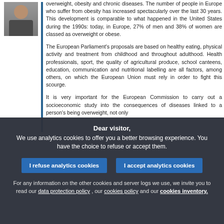[Figure (photo): Portrait photo of a man in a suit with a tie]
overweight, obesity and chronic diseases. The number of people in Europe who suffer from obesity has increased spectacularly over the last 30 years. This development is comparable to what happened in the United States during the 1990s: today, in Europe, 27% of men and 38% of women are classed as overweight or obese.
The European Parliament's proposals are based on healthy eating, physical activity and treatment from childhood and throughout adulthood. Health professionals, sport, the quality of agricultural produce, school canteens, education, communication and nutritional labelling are all factors, among others, on which the European Union must rely in order to fight this scourge.
It is very important for the European Commission to carry out a socioeconomic study into the consequences of diseases linked to a person's being overweight, not only
Dear visitor,
We use analytics cookies to offer you a better browsing experience. You have the choice to refuse or accept them.
I refuse analytics cookies
I accept analytics cookies
For any information on the other cookies and server logs we use, we invite you to read our data protection policy , our cookies policy and our cookies inventory.